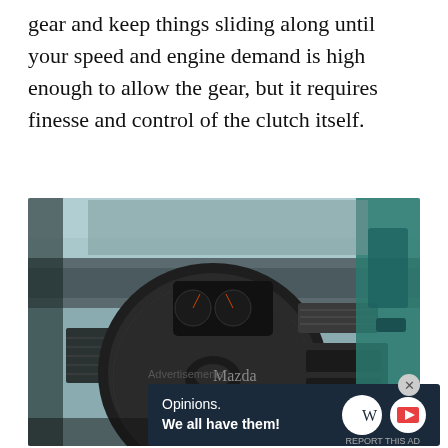gear and keep things sliding along until your speed and engine demand is high enough to allow the gear, but it requires finesse and control of the clutch itself.
[Figure (photo): Interior of an older car showing a worn steering wheel with a Mazda logo, dashboard with gauges, center console area, and items visible in the passenger footwell. Teal door panel visible on the right.]
Advertisements
[Figure (other): Advertisement banner with dark navy background showing 'Opinions. We all have them!' with WordPress logo and another icon.]